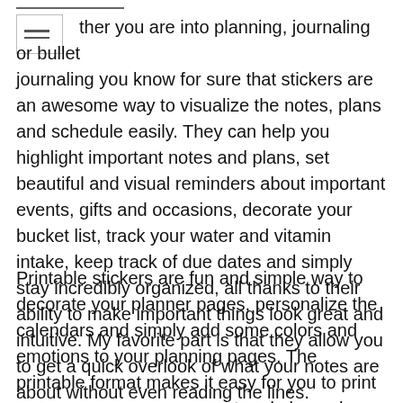ther you are into planning, journaling or bullet journaling you know for sure that stickers are an awesome way to visualize the notes, plans and schedule easily. They can help you highlight important notes and plans, set beautiful and visual reminders about important events, gifts and occasions, decorate your bucket list, track your water and vitamin intake, keep track of due dates and simply stay incredibly organized, all thanks to their ability to make important things look great and intuitive. My favorite part is that they allow you to get a quick overlook of what your notes are about without even reading the lines.
Printable stickers are fun and simple way to decorate your planner pages, personalize the calendars and simply add some colors and emotions to your planning pages. The printable format makes it easy for you to print as many pages as you want and always have a never ending supply of fun and functional stickers.